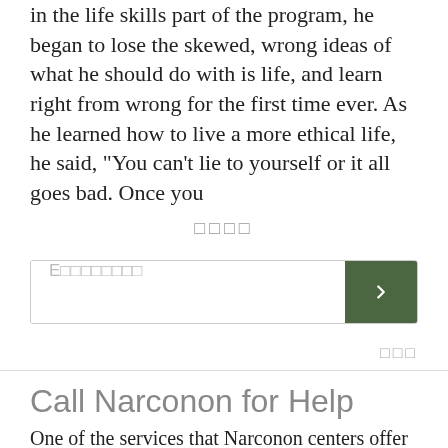in the life skills part of the program, he began to lose the skewed, wrong ideas of what he should do with is life, and learn right from wrong for the first time ever. As he learned how to live a more ethical life, he said, "You can't lie to yourself or it all goes bad. Once you
□□□□
E□□□□□□□□
□□□
Call Narconon for Help
One of the services that Narconon centers offer families all around the world is help to get through all the barriers that are in the way of getting a loved one